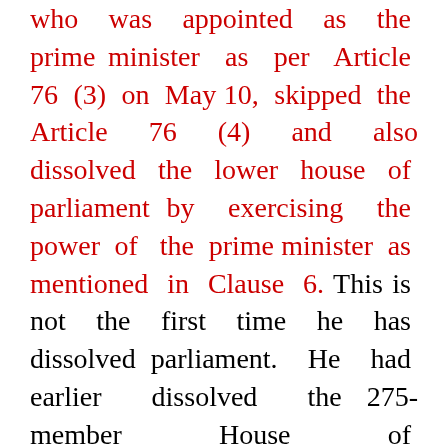who was appointed as the prime minister as per Article 76 (3) on May 10, skipped the Article 76 (4) and also dissolved the lower house of parliament by exercising the power of the prime minister as mentioned in Clause 6. This is not the first time he has dissolved parliament. He had earlier dissolved the 275-member House of Representatives on December 20 last year which was, however, restored by February 23 order of the Supreme Court.
Oli, who was appointed as the Prime Minister on February 15,2018, had assumed the office as the chief